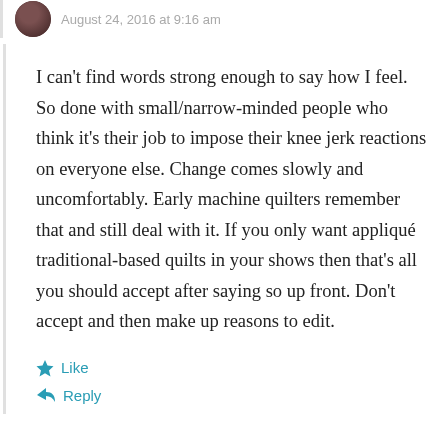August 24, 2016 at 9:16 am
I can't find words strong enough to say how I feel. So done with small/narrow-minded people who think it's their job to impose their knee jerk reactions on everyone else. Change comes slowly and uncomfortably. Early machine quilters remember that and still deal with it. If you only want appliqué traditional-based quilts in your shows then that's all you should accept after saying so up front. Don't accept and then make up reasons to edit.
Like
Reply